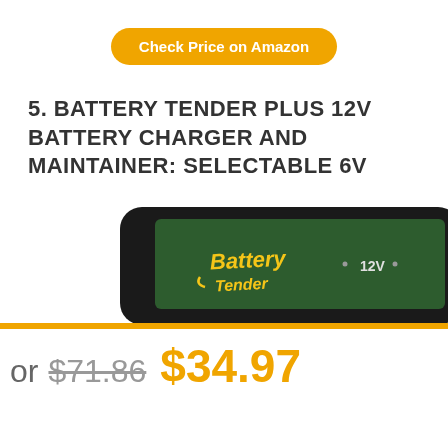Check Price on Amazon
5. BATTERY TENDER PLUS 12V BATTERY CHARGER AND MAINTAINER: SELECTABLE 6V
[Figure (photo): Close-up photo of a Battery Tender Plus 12V battery charger device showing the top panel with the Battery Tender logo in yellow italic text and a 12V indicator label on a dark/black background with rounded corners.]
or $71.86 $34.97